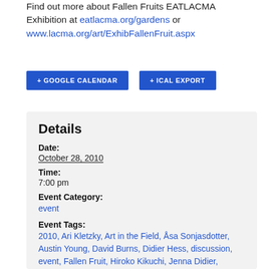Find out more about Fallen Fruits EATLACMA Exhibition at eatlacma.org/gardens or www.lacma.org/art/ExhibFallenFruit.aspx
+ GOOGLE CALENDAR   + ICAL EXPORT
Details
Date:
October 28, 2010
Time:
7:00 pm
Event Category:
event
Event Tags:
2010, Ari Kletzky, Art in the Field, Åsa Sonjasdotter, Austin Young, David Burns, Didier Hess, discussion, event, Fallen Fruit, Hiroko Kikuchi, Jenna Didier, Jeremy Liu, John Burtle, Jules Rochielle Sievert,